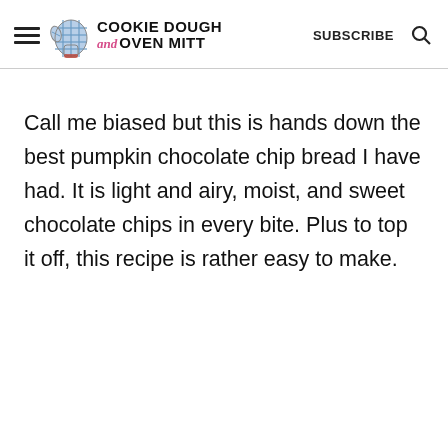Cookie Dough and Oven Mitt — SUBSCRIBE
Call me biased but this is hands down the best pumpkin chocolate chip bread I have had. It is light and airy, moist, and sweet chocolate chips in every bite. Plus to top it off, this recipe is rather easy to make.